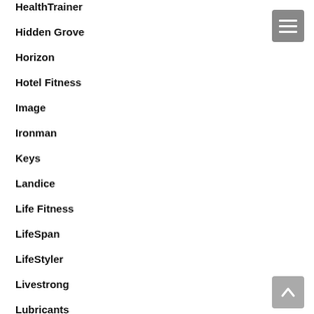HealthTrainer
Hidden Grove
Horizon
Hotel Fitness
Image
Ironman
Keys
Landice
Life Fitness
LifeSpan
LifeStyler
Livestrong
Lubricants